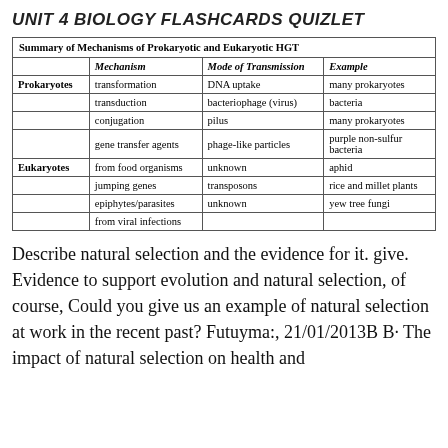UNIT 4 BIOLOGY FLASHCARDS QUIZLET
|  | Mechanism | Mode of Transmission | Example |
| --- | --- | --- | --- |
| Prokaryotes | transformation | DNA uptake | many prokaryotes |
|  | transduction | bacteriophage (virus) | bacteria |
|  | conjugation | pilus | many prokaryotes |
|  | gene transfer agents | phage-like particles | purple non-sulfur bacteria |
| Eukaryotes | from food organisms | unknown | aphid |
|  | jumping genes | transposons | rice and millet plants |
|  | epiphytes/parasites | unknown | yew tree fungi |
|  | from viral infections |  |  |
Describe natural selection and the evidence for it. give. Evidence to support evolution and natural selection, of course, Could you give us an example of natural selection at work in the recent past? Futuyma:, 21/01/2013B B· The impact of natural selection on health and